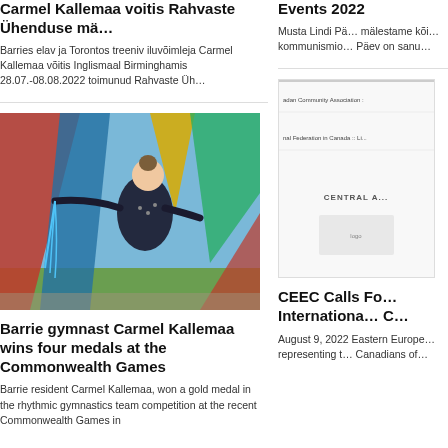Carmel Kallemaa voitis Rahvaste Ühenduse mä…
Barries elav ja Torontos treeniv iluvõimleja Carmel Kallemaa võitis Inglismaal Birminghamis 28.07.-08.08.2022 toimunud Rahvaste Üh…
Events 2022
Musta Lindi Pä… mälestame kõi… kommunismio… Päev on sanu…
[Figure (photo): Gymnast Carmel Kallemaa posing outdoors in front of colorful geometric shapes in red, blue, yellow, and green, holding ribbons, wearing a black competition leotard.]
[Figure (screenshot): Partial screenshot of a webpage for Canadian Community Association and National Federation in Canada, with text reading CENTRAL A...]
Barrie gymnast Carmel Kallemaa wins four medals at the Commonwealth Games
Barrie resident Carmel Kallemaa, won a gold medal in the rhythmic gymnastics team competition at the recent Commonwealth Games in
CEEC Calls Fo… Internationa… C…
August 9, 2022 Eastern Europe… representing t… Canadians of…